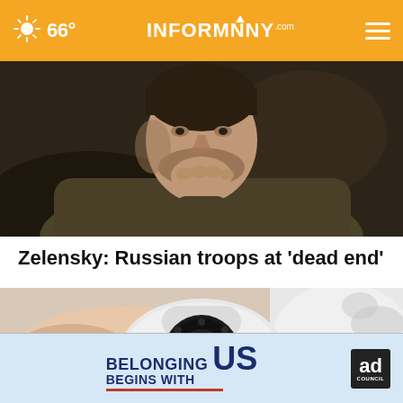66° INFORMNNY.com
[Figure (photo): Close-up of a man with a beard resting his chin on his fist in a thoughtful or concerned pose, wearing a dark military-style jacket. Dark moody background.]
Zelensky: Russian troops at 'dead end'
[Figure (photo): Close-up of a round white security camera being held in hands, with a dark circular lens panel in the center.]
[Figure (infographic): Ad Council advertisement banner: BELONGING BEGINS WITH US, with red underline and Ad Council logo.]